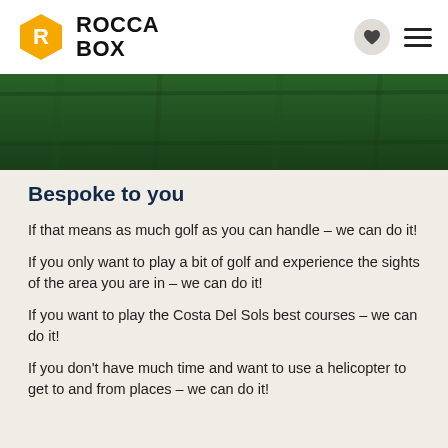ROCCA BOX
[Figure (photo): Dark green grass or lawn surface, viewed from above, forming a horizontal banner image.]
Bespoke to you
If that means as much golf as you can handle – we can do it!
If you only want to play a bit of golf and experience the sights of the area you are in – we can do it!
If you want to play the Costa Del Sols best courses – we can do it!
If you don't have much time and want to use a helicopter to get to and from places – we can do it!